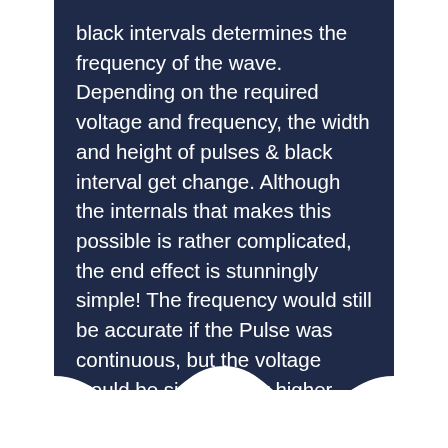black intervals determines the frequency of the wave. Depending on the required voltage and frequency, the width and height of pulses & black interval get change. Although the internals that makes this possible is rather complicated, the end effect is stunningly simple! The frequency would still be accurate if the Pulse was continuous, but the voltage would be significantly higher than a pure AC sine wave.